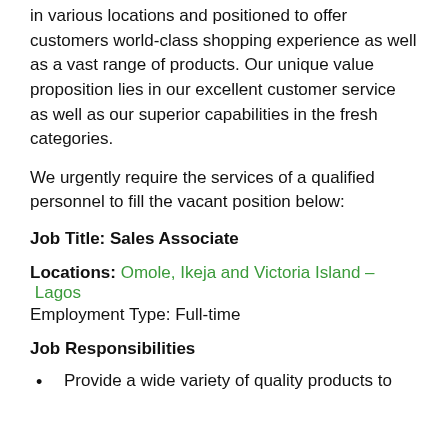in various locations and positioned to offer customers world-class shopping experience as well as a vast range of products. Our unique value proposition lies in our excellent customer service as well as our superior capabilities in the fresh categories.
We urgently require the services of a qualified personnel to fill the vacant position below:
Job Title: Sales Associate
Locations: Omole, Ikeja and Victoria Island – Lagos
Employment Type: Full-time
Job Responsibilities
Provide a wide variety of quality products to